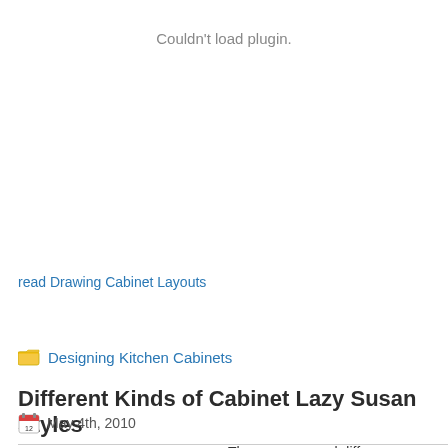[Figure (other): Plugin placeholder area with 'Couldn't load plugin.' error message]
read Drawing Cabinet Layouts
[Figure (other): Folder icon representing category]
Designing Kitchen Cabinets
Different Kinds of Cabinet Lazy Susan Styles
[Figure (other): Calendar icon]
May 4th, 2010
[Figure (photo): Partial image of cabinet lazy susan, brown/orange curved shape visible at bottom]
There are several differe